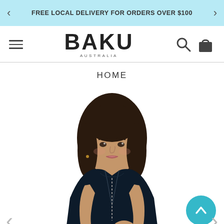FREE LOCAL DELIVERY FOR ORDERS OVER $100
[Figure (logo): BAKU AUSTRALIA brand logo with hamburger menu, search icon and bag icon]
HOME
[Figure (photo): Female model wearing a dark navy zip-front swimsuit/top, shown from mid-torso up, with long dark hair]